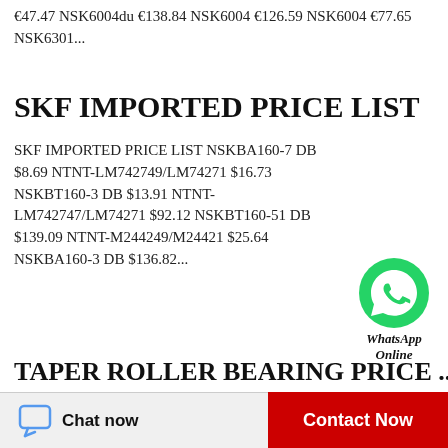€47.47 NSK6004du €138.84 NSK6004 €126.59 NSK6004 €77.65 NSK6301...
SKF IMPORTED PRICE LIST
SKF IMPORTED PRICE LIST NSKBA160-7 DB $8.69 NTNT-LM742749/LM74271 $16.73 NSKBT160-3 DB $13.91 NTNT-LM742747/LM74271 $92.12 NSKBT160-51 DB $139.09 NTNT-M244249/M24421 $25.64 NSKBA160-3 DB $136.82...
[Figure (logo): WhatsApp green circle logo with phone icon, labeled 'WhatsApp Online']
TAPER ROLLER BEARING PRICE ...
TAPER ROLLER BEARING PRICE LIST NSK7912A5TRSULP3 ￥84.66 NSK7912A5TRSUMP3 ￥35.16 NSK7912CTRDULP3 ￥76.25
Chat now   Contact Now